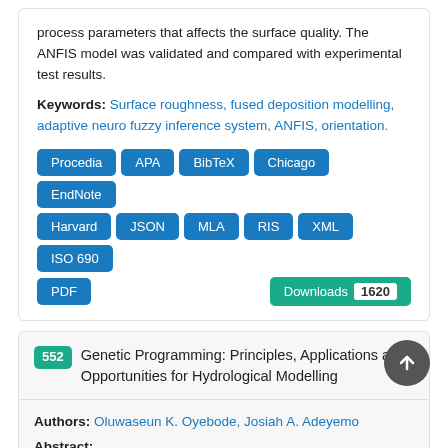process parameters that affects the surface quality. The ANFIS model was validated and compared with experimental test results.
Keywords: Surface roughness, fused deposition modelling, adaptive neuro fuzzy inference system, ANFIS, orientation.
[Figure (other): Row of citation/export buttons: Procedia, APA, BibTeX, Chicago, EndNote, Harvard, JSON, MLA, RIS, XML, ISO 690, PDF, and a Downloads button showing 1620 downloads]
552 Genetic Programming: Principles, Applications and Opportunities for Hydrological Modelling
Authors: Oluwaseun K. Oyebode, Josiah A. Adeyemo
Abstract: